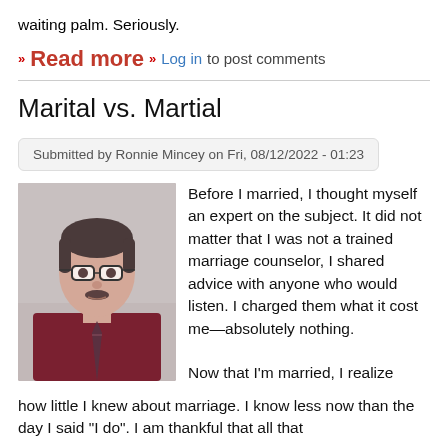waiting palm. Seriously.
Read more  Log in to post comments
Marital vs. Martial
Submitted by Ronnie Mincey on Fri, 08/12/2022 - 01:23
[Figure (photo): Portrait photo of a middle-aged man with glasses, wearing a dark red/maroon shirt and tie, gray background]
Before I married, I thought myself an expert on the subject. It did not matter that I was not a trained marriage counselor, I shared advice with anyone who would listen. I charged them what it cost me—absolutely nothing. Now that I'm married, I realize how little I knew about marriage. I know less now than the day I said "I do". I am thankful that all that
Now that I'm married, I realize how little I knew about marriage. I know less now than the day I said "I do". I am thankful that all that